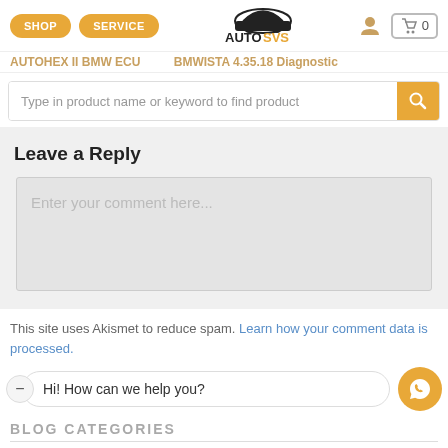SHOP | SERVICE | AUTO SVS | 0
AUTOHEX II BMW ECU   BMWISTA 4.35.18 Diagnostic
Type in product name or keyword to find product
Leave a Reply
Enter your comment here...
This site uses Akismet to reduce spam. Learn how your comment data is processed.
Hi! How can we help you?
BLOG CATEGORIES